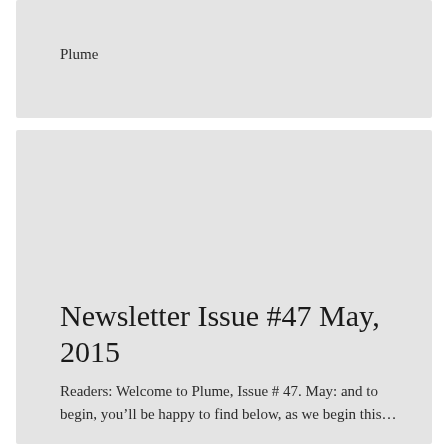Plume
Newsletter Issue #47 May, 2015
Readers: Welcome to Plume, Issue # 47. May: and to begin, you’ll be happy to find below, as we begin this…
Plume